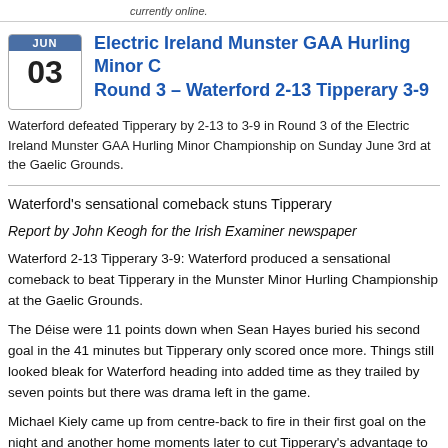currently online.
Electric Ireland Munster GAA Hurling Minor C Round 3 – Waterford 2-13 Tipperary 3-9
Waterford defeated Tipperary by 2-13 to 3-9 in Round 3 of the Electric Ireland Munster GAA Hurling Minor Championship on Sunday June 3rd at the Gaelic Grounds.
Waterford's sensational comeback stuns Tipperary
Report by John Keogh for the Irish Examiner newspaper
Waterford 2-13 Tipperary 3-9: Waterford produced a sensational comeback to beat Tipperary in the Munster Minor Hurling Championship at the Gaelic Grounds.
The Déise were 11 points down when Sean Hayes buried his second goal in the 41 minutes but Tipperary only scored once more. Things still looked bleak for Waterford heading into added time as they trailed by seven points but there was drama left in the game.
Michael Kiely came up from centre-back to fire in their first goal on the night and another home moments later to cut Tipperary's advantage to just one point.
Kiely then added a free to square the game up and Waterford hit the net again. Fives came down the left wing to score a wonderful individual point.